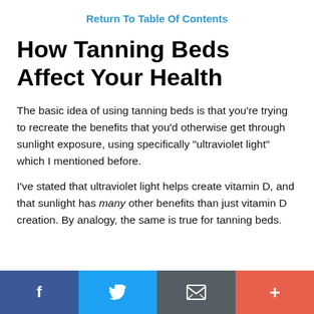Return To Table Of Contents
How Tanning Beds Affect Your Health
The basic idea of using tanning beds is that you're trying to recreate the benefits that you'd otherwise get through sunlight exposure, using specifically "ultraviolet light" which I mentioned before.
I've stated that ultraviolet light helps create vitamin D, and that sunlight has many other benefits than just vitamin D creation. By analogy, the same is true for tanning beds.